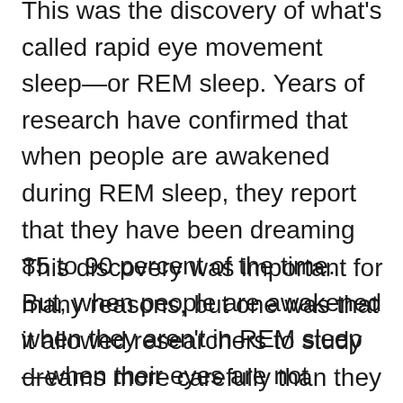This was the discovery of what's called rapid eye movement sleep—or REM sleep. Years of research have confirmed that when people are awakened during REM sleep, they report that they have been dreaming 85 to 90 percent of the time. But, when people are awakened when they aren't in REM sleep—when their eyes are not moving around—they usually don't report that they were dreaming.
This discovery was important for many reasons, but one was that it allowed researchers to study dreams more carefully than they had in the past. They would wait just until participants in their sleep studies went into REM sleep, and then they'd wake them up to record their dreams.